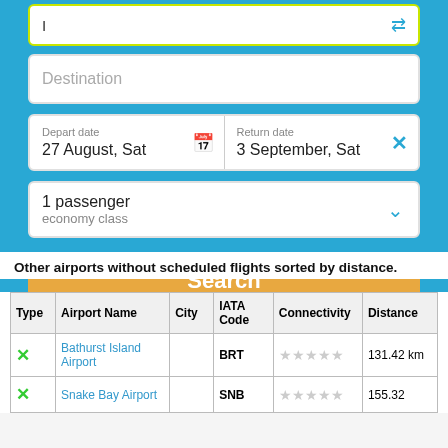[Figure (screenshot): Flight search form with origin field, destination field, depart/return date fields, passenger/class selector, and orange Search button on a blue background]
Other airports without scheduled flights sorted by distance.
| Type | Airport Name | City | IATA Code | Connectivity | Distance |
| --- | --- | --- | --- | --- | --- |
| ✗ | Bathurst Island Airport |  | BRT | ★★★★★ | 131.42 km |
| ✗ | Snake Bay Airport |  | SNB | ★★★★★ | 155.32 |